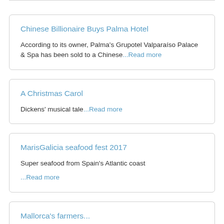Chinese Billionaire Buys Palma Hotel
According to its owner, Palma's Grupotel Valparaíso Palace & Spa has been sold to a Chinese...Read more
A Christmas Carol
Dickens' musical tale...Read more
MarisGalicia seafood fest 2017
Super seafood from Spain's Atlantic coast
...Read more
Mallorca's farmers...